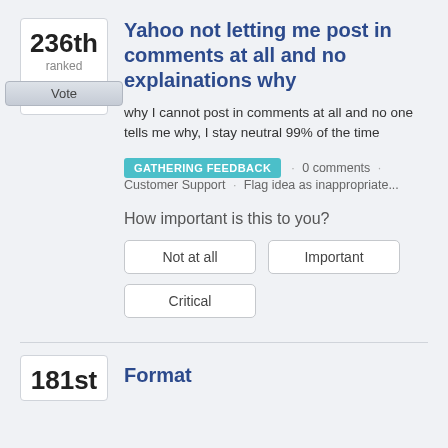236th ranked
Yahoo not letting me post in comments at all and no explainations why
why I cannot post in comments at all and no one tells me why, I stay neutral 99% of the time
GATHERING FEEDBACK · 0 comments · Customer Support · Flag idea as inappropriate...
How important is this to you?
Not at all
Important
Critical
181st
Format